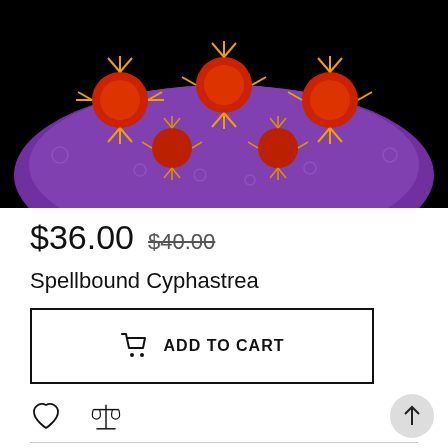[Figure (photo): Close-up photo of a Spellbound Cyphastrea coral with red and orange polyps on a purple base, against a black background]
$36.00  $40.00
Spellbound Cyphastrea
ADD TO CART
[Figure (other): Heart icon (wishlist) and balance scale icon (compare)]
FILTER